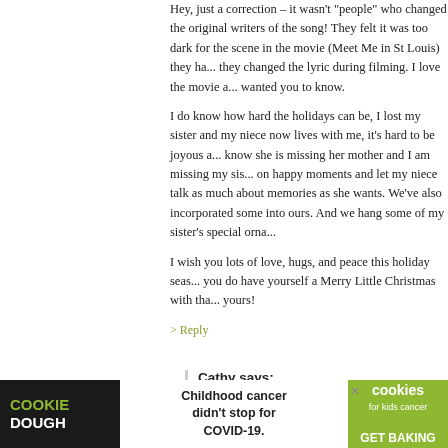Hey, just a correction – it wasn't "people" who changed the original writers of the song! They felt it was too dark for the scene in the movie (Meet Me in St Louis) they had, they changed the lyric during filming. I love the movie and wanted you to know.
I do know how hard the holidays can be, I lost my sister and my niece now lives with me, it's hard to be joyous and know she is missing her mother and I am missing my sister on happy moments and let my niece talk as much about memories as she wants. We've also incorporated some into ours. And we hang some of my sister's special ornaments.
I wish you lots of love, hugs, and peace this holiday season, you do have yourself a Merry Little Christmas with that heart of yours!
> Reply
Cathy says:
DECEMBER 13TH, 2011 AT 9:20 AM
[Figure (infographic): Advertisement banner for Cookie Dough brand featuring 'Childhood cancer didn't stop for COVID-19.' with 'COOKIE DOUGH' text on left, 'cookies for kids cancer GET BAKING' on right]